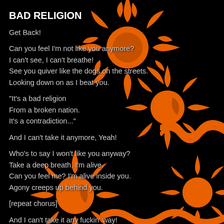BAD RELIGION
Get Back!

Can you feel I'm not like you anymore?
I can't see, I can't breathe!
See you quiver like the dogs on the streets.
Looking down on as I beat you.

"It's a bad religion
From a broken nation.
It's a contradiction..."

And I can't take it anymore, Yeah!

Who's to say I won't like you anyway?
Take a deep breath, I'm alive.
Can you feel me? I'm alive inside you.
Agony creeps up behind you.

[repeat chorus]

And I can't take it any fuckin' way!